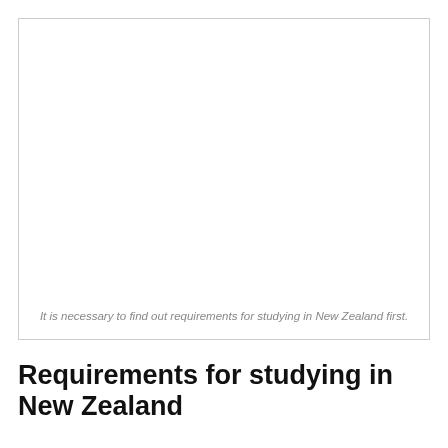[Figure (photo): A mostly white/blank image placeholder with a caption below it about studying in New Zealand.]
It is necessary to find out requirements for studying in New Zealand first.
Requirements for studying in New Zealand